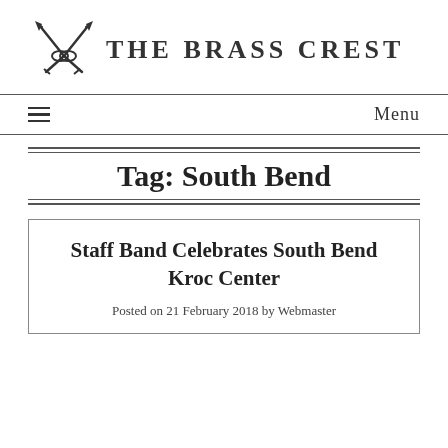[Figure (logo): The Brass Crest logo with crossed trumpets icon and text]
≡  Menu
Tag: South Bend
Staff Band Celebrates South Bend Kroc Center
Posted on 21 February 2018 by Webmaster